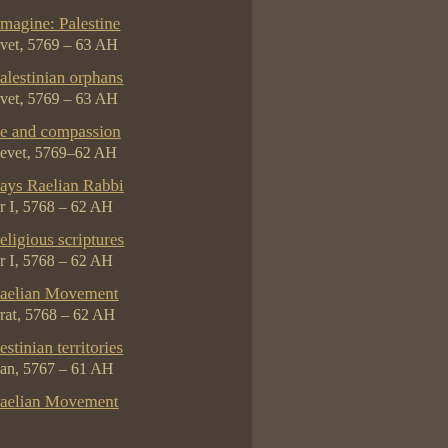imagine: Palestine
vet, 5769 – 63 AH
Palestinian orphans
vet, 5769 – 63 AH
e and compassion
evet, 5769–62 AH
ays Raelian Rabbi
r I, 5768 – 62 AH
eligious scriptures
r I, 5768 – 62 AH
aelian Movement
rat, 5768 – 62 AH
estinian territories
an, 5767 – 61 AH
aelian Movement